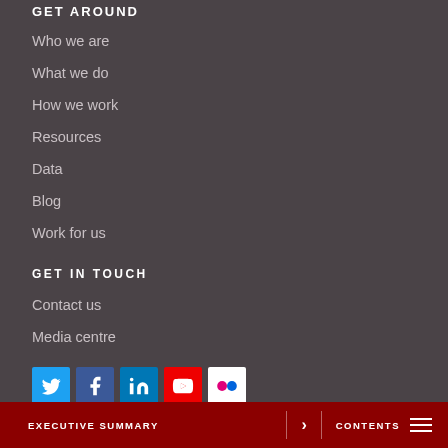GET AROUND
Who we are
What we do
How we work
Resources
Data
Blog
Work for us
GET IN TOUCH
Contact us
Media centre
[Figure (infographic): Social media icons for Twitter, Facebook, LinkedIn, YouTube, and Flickr]
POLICIES AND STAT
Modern slavery and h
EXECUTIVE SUMMARY  >  CONTENTS